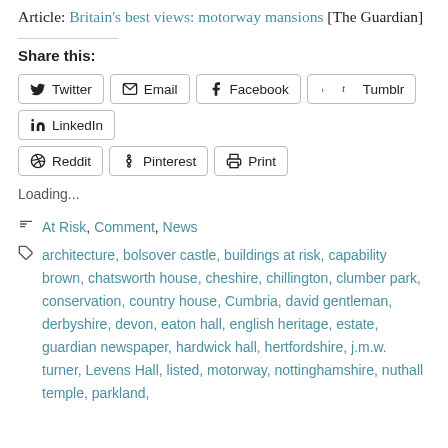Article: Britain's best views: motorway mansions [The Guardian]
Share this:
Twitter Email Facebook Tumblr LinkedIn Reddit Pinterest Print
Loading...
At Risk, Comment, News
architecture, bolsover castle, buildings at risk, capability brown, chatsworth house, cheshire, chillington, clumber park, conservation, country house, Cumbria, david gentleman, derbyshire, devon, eaton hall, english heritage, estate, guardian newspaper, hardwick hall, hertfordshire, j.m.w. turner, Levens Hall, listed, motorway, nottinghamshire, nuthall temple, parkland,